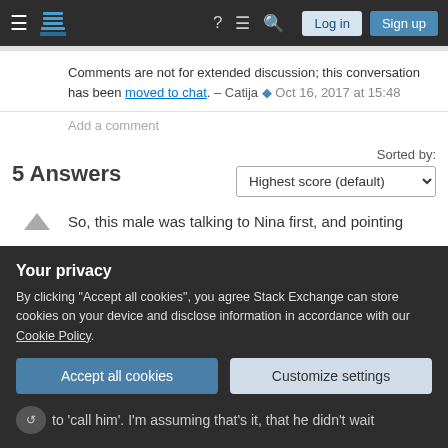Stack Exchange navigation bar with hamburger menu, logo, help, chat, search icons, Log in and Sign up buttons
Comments are not for extended discussion; this conversation has been moved to chat. – Catija ◆ Oct 16, 2017 at 15:48
Add a comment
5 Answers
Sorted by: Highest score (default)
So, this male was talking to Nina first, and pointing
Your privacy
By clicking "Accept all cookies", you agree Stack Exchange can store cookies on your device and disclose information in accordance with our Cookie Policy.
Accept all cookies
Customize settings
to 'call him'. I'm assuming that's it, that he didn't wait